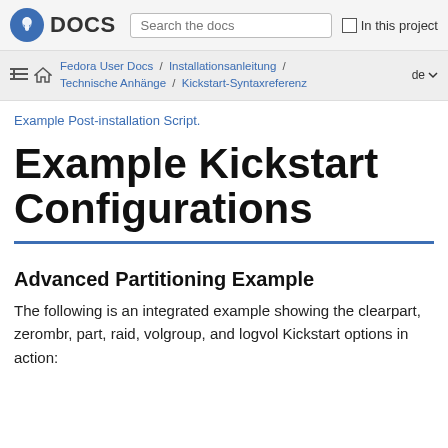Fedora DOCS | Search the docs | In this project
Fedora User Docs / Installationsanleitung / Technische Anhänge / Kickstart-Syntaxreferenz | de
Example Post-installation Script.
Example Kickstart Configurations
Advanced Partitioning Example
The following is an integrated example showing the clearpart, zerombr, part, raid, volgroup, and logvol Kickstart options in action: